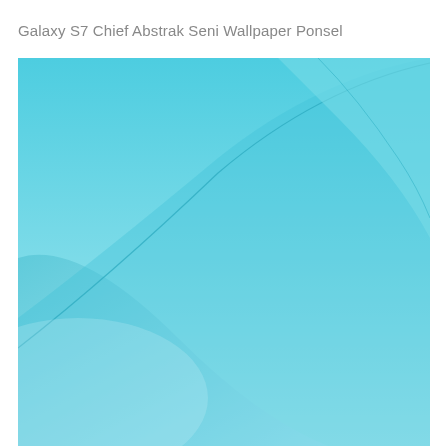Galaxy S7 Chief Abstrak Seni Wallpaper Ponsel
[Figure (illustration): Abstract teal/cyan wallpaper art with smooth curved overlapping planes — a large sweeping arc curves from the lower-left to upper-right, with layered translucent triangular/curved panels in varying shades of teal and cyan, on a light blue gradient background.]